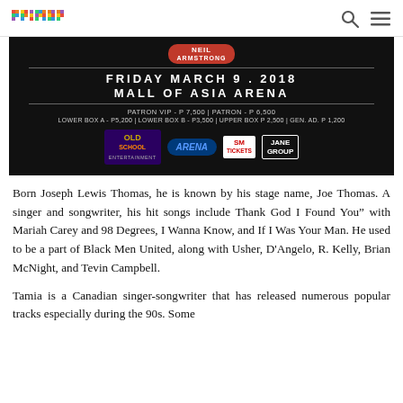primer [logo] [search icon] [menu icon]
[Figure (infographic): Concert event banner on dark background. Shows venue details: FRIDAY MARCH 9. 2018, MALL OF ASIA ARENA. Ticket prices: PATRON VIP - P 7,500 | PATRON - P 6,500 | LOWER BOX A - P5,200 | LOWER BOX B - P3,500 | UPPER BOX P 2,500 | GEN. AD. P 1,200. Sponsor logos: Old School Entertainment, Arena, SM Tickets, Jane Group.]
Born Joseph Lewis Thomas, he is known by his stage name, Joe Thomas. A singer and songwriter, his hit songs include Thank God I Found You" with Mariah Carey and 98 Degrees, I Wanna Know, and If I Was Your Man. He used to be a part of Black Men United, along with Usher, D'Angelo, R. Kelly, Brian McNight, and Tevin Campbell.
Tamia is a Canadian singer-songwriter that has released numerous popular tracks especially during the 90s. Some